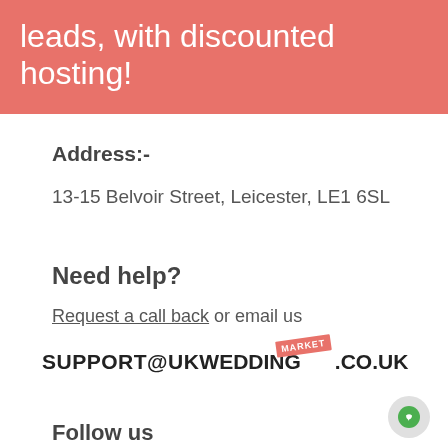leads, with discounted hosting!
Address:-
13-15 Belvoir Street, Leicester, LE1 6SL
Need help?
Request a call back or email us
SUPPORT@ukWEDDINGMARKET.CO.UK
Follow us